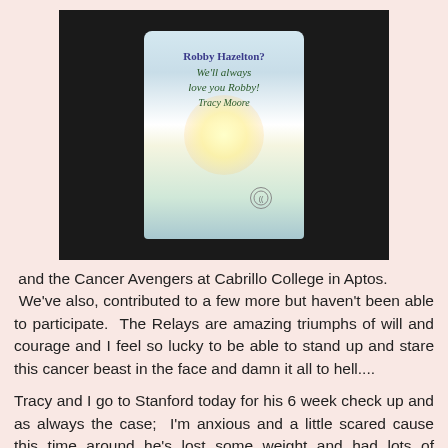[Figure (photo): A glowing luminaria candle bag in a dark setting. The white bag displays handwritten text reading 'Robby Hazelton? We'll always love you Robby! Tracy Moore' with a cancer relay logo visible.]
and the Cancer Avengers at Cabrillo College in Aptos.  We've also, contributed to a few more but haven't been able to participate.  The Relays are amazing triumphs of will and courage and I feel so lucky to be able to stand up and stare this cancer beast in the face and damn it all to hell....
Tracy and I go to Stanford today for his 6 week check up and as always the case;  I'm anxious and a little scared cause this time around he's lost some weight and had lots of cramping in his legs and hands.  He says he's lost the weight intentionally and I know it gives him control but I don't like it